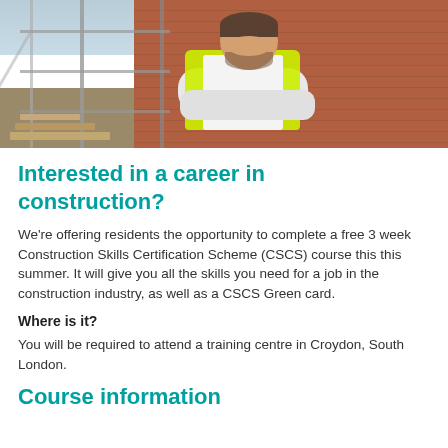[Figure (photo): A construction worker in a yellow hi-vis vest standing with arms crossed in front of a brick building under construction with scaffolding]
Interested in a career in construction?
We're offering residents the opportunity to complete a free 3 week Construction Skills Certification Scheme (CSCS) course this this summer. It will give you all the skills you need for a job in the construction industry, as well as a CSCS Green card.
Where is it?
You will be required to attend a training centre in Croydon, South London.
Course information